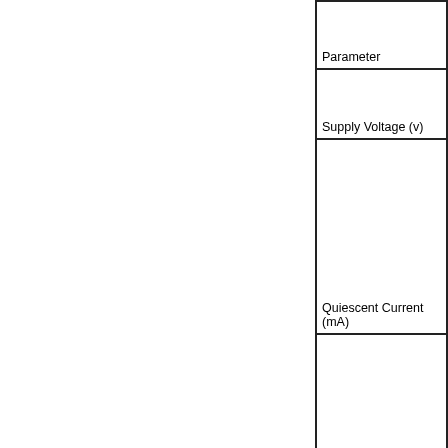| Parameter |
| --- |
| Supply Voltage (v) |
| Quiescent Current (mA) |
| Input Sensitivity (mV) |
| Input Impedance (Kohm) |
|  |